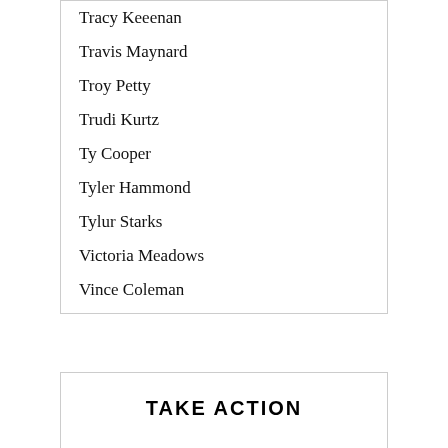Tracy Keeenan
Travis Maynard
Troy Petty
Trudi Kurtz
Ty Cooper
Tyler Hammond
Tylur Starks
Victoria Meadows
Vince Coleman
TAKE ACTION